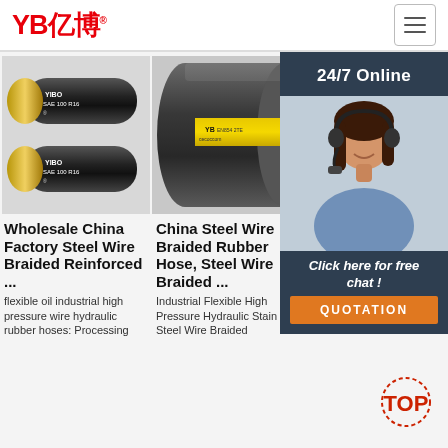YB亿博®
[Figure (photo): Two black steel wire braided rubber hoses labeled YIBO SAE 100 R16]
[Figure (photo): Grey steel wire braided rubber hose with yellow YB branding label]
[Figure (photo): Customer service representative with headset, 24/7 Online chat widget]
Wholesale China Factory Steel Wire Braided Reinforced ...
China Steel Wire Braided Rubber Hose, Steel Wire Braided ...
China Wire Steel Hose Manufacturers ...
flexible oil industrial high pressure wire hydraulic rubber hoses: Processing
Industrial Flexible High Pressure Hydraulic Stain Steel Wire Braided
Wholesale Industrial Rubber Hoses Steel Wire